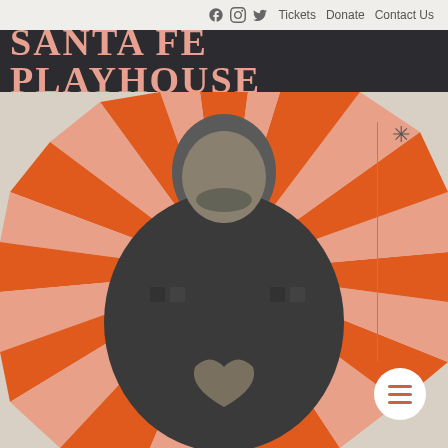f  o  Twitter  Tickets  Donate  Contact Us
SANTA FE PLAYHOUSE
[Figure (photo): Black and white photo of a smiling bald man with a beard wearing a patterned jacket, making a heart shape with his hands. Behind him is a decorative sunburst pattern with alternating orange and salmon/pink rays radiating from behind his head. A small asterisk/star decoration and vertical line appear in the upper right. A white circular menu button with orange hamburger lines appears in the lower right.]